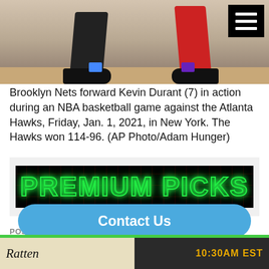[Figure (photo): Brooklyn Nets basketball game photo showing players' legs and shoes on a court, with a hamburger menu icon in top-right corner]
Brooklyn Nets forward Kevin Durant (7) in action during an NBA basketball game against the Atlanta Hawks, Friday, Jan. 1, 2021, in New York. The Hawks won 114-96. (AP Photo/Adam Hunger)
[Figure (logo): Premium Picks banner: black background with green glowing outlined text reading PREMIUM PICKS]
POSTED BY: RON RAYMOND   DECEMBER 27, 2021
Professional Sports Handicapper Ron Raymond of the Raymond Report has released his Value and Percentage Play charts for today's 7 NBA games for Monday, December 27th, 2021.
Contact Us
10:30AM EST